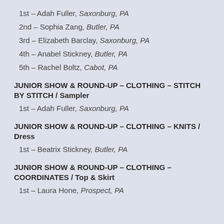1st – Adah Fuller, Saxonburg, PA
2nd – Sophia Zang, Butler, PA
3rd – Elizabeth Barclay, Saxonburg, PA
4th – Anabel Stickney, Butler, PA
5th – Rachel Boltz, Cabot, PA
JUNIOR SHOW & ROUND-UP – CLOTHING – STITCH BY STITCH / Sampler
1st – Adah Fuller, Saxonburg, PA
JUNIOR SHOW & ROUND-UP – CLOTHING – KNITS / Dress
1st – Beatrix Stickney, Butler, PA
JUNIOR SHOW & ROUND-UP – CLOTHING – COORDINATES / Top & Skirt
1st – Laura Hone, Prospect, PA